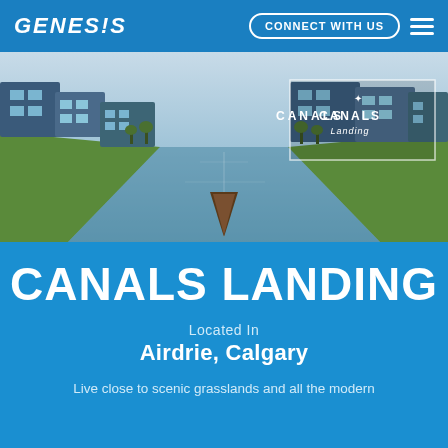GENESIS | CONNECT WITH US
[Figure (photo): Aerial canal view with canoe in foreground, residential homes on both sides, reflections in water, Canals Landing logo overlay in top right]
CANALS LANDING
Located In
Airdrie, Calgary
Live close to scenic grasslands and all the modern